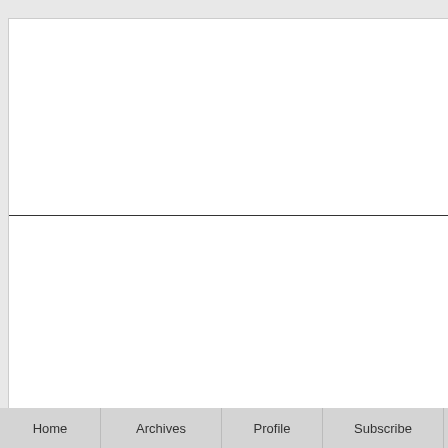[Figure (screenshot): Upper white panel separated by a horizontal divider line from a lower white panel, resembling a two-panel content area of a webpage.]
Home | Archives | Profile | Subscribe